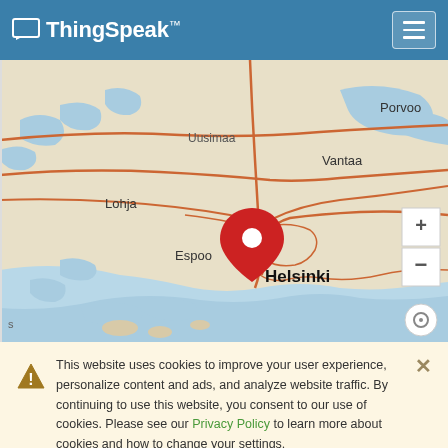ThingSpeak™
[Figure (map): Map showing Helsinki region of Finland with a red location pin marker placed near central Helsinki/Espoo area. Map shows cities including Helsinki, Espoo, Vantaa, Lohja, Uusimaa, Porvoo. Roads shown as orange/red lines on a light beige/green map background. Blue water areas visible in the south. Zoom controls (+/-) visible on right side.]
This website uses cookies to improve your user experience, personalize content and ads, and analyze website traffic. By continuing to use this website, you consent to our use of cookies. Please see our Privacy Policy to learn more about cookies and how to change your settings.